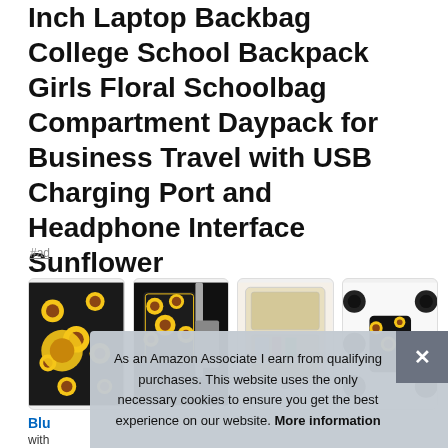Inch Laptop Backbag College School Backpack Girls Floral Schoolbag Compartment Daypack for Business Travel with USB Charging Port and Headphone Interface Sunflower
#ad
[Figure (photo): Four thumbnail images of a sunflower-patterned backpack showing different angles and compartments: full set laid flat, attached to luggage, open compartments view, and features collage]
Blu...
with...
provides convenient access to different size of bottles or...
As an Amazon Associate I earn from qualifying purchases. This website uses the only necessary cookies to ensure you get the best experience on our website. More information